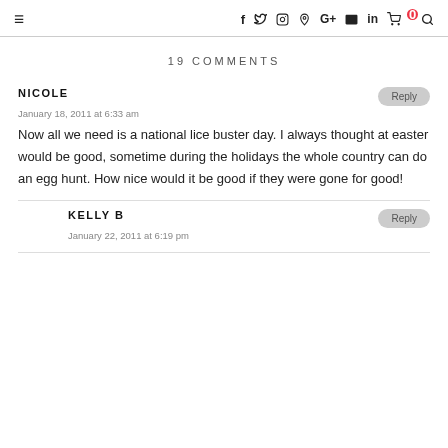≡  f  y  ⊙  ⊕  G+  ▶  in  🛒 0  🔍
19 COMMENTS
NICOLE
January 18, 2011 at 6:33 am
Now all we need is a national lice buster day. I always thought at easter would be good, sometime during the holidays the whole country can do an egg hunt. How nice would it be good if they were gone for good!
KELLY B
January 22, 2011 at 6:19 pm